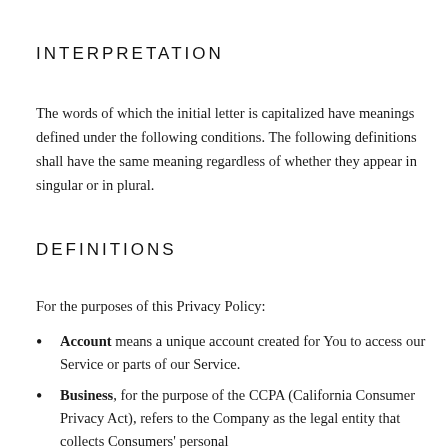INTERPRETATION
The words of which the initial letter is capitalized have meanings defined under the following conditions. The following definitions shall have the same meaning regardless of whether they appear in singular or in plural.
DEFINITIONS
For the purposes of this Privacy Policy:
Account means a unique account created for You to access our Service or parts of our Service.
Business, for the purpose of the CCPA (California Consumer Privacy Act), refers to the Company as the legal entity that collects Consumers' personal